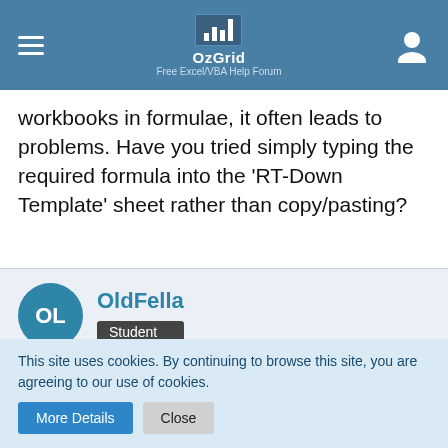OzGrid — Free Excel/VBA Help Forum
workbooks in formulae, it often leads to problems. Have you tried simply typing the required formula into the 'RT-Down Template' sheet rather than copy/pasting?
OldFella — Student
Jun 17th 2017
Re: Index/Match Formula Disappears after Ctrl-Shift-Enter
Unfortunately I've got no choice other than to reference the other workbook although, as a last resort, I can copy the
This site uses cookies. By continuing to browse this site, you are agreeing to our use of cookies.